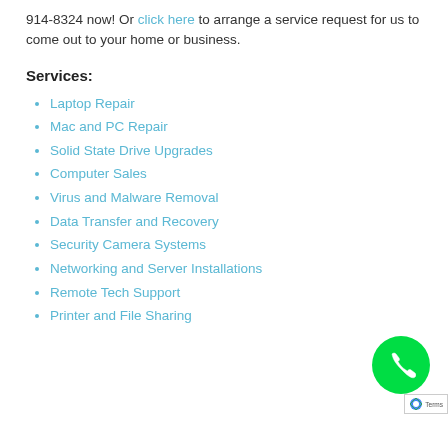914-8324 now! Or click here to arrange a service request for us to come out to your home or business.
Services:
Laptop Repair
Mac and PC Repair
Solid State Drive Upgrades
Computer Sales
Virus and Malware Removal
Data Transfer and Recovery
Security Camera Systems
Networking and Server Installations
Remote Tech Support
Printer and File Sharing
[Figure (other): Green circular phone icon button]
Terms